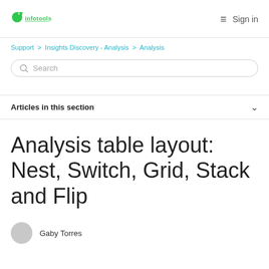[Figure (logo): Infotools logo — green circle icon with dots and 'infotools' wordmark in green]
≡  Sign in
Support > Insights Discovery - Analysis > Analysis
Search
Articles in this section
Analysis table layout: Nest, Switch, Grid, Stack and Flip
Gaby Torres